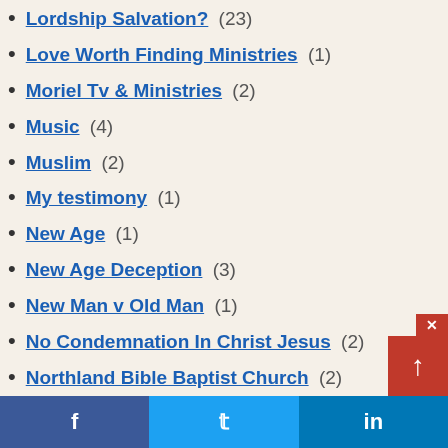Lordship Salvation? (23)
Love Worth Finding Ministries (1)
Moriel Tv & Ministries (2)
Music (4)
Muslim (2)
My testimony (1)
New Age (1)
New Age Deception (3)
New Man v Old Man (1)
No Condemnation In Christ Jesus (2)
Northland Bible Baptist Church (2)
Old Paths Baptist Church (2)
One Minute Apologist (1)
OSAS addressing all those Scriptures that suggest LOS (2)
Our Sin Imputed to Christ (9)
Parkside Baptist Church (1)
Pauls Song Of Songs (1)
Predestined (1)